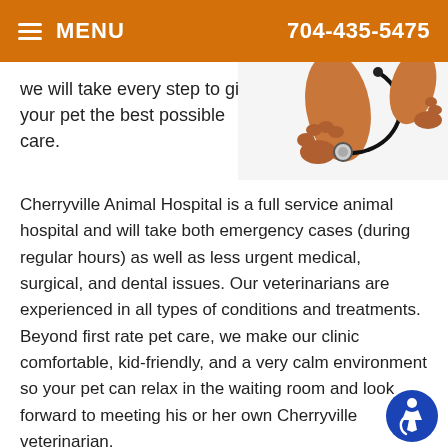MENU   704-435-5475
we will take every step to give your pet the best possible care.
[Figure (photo): Dog paw holding a stethoscope on white background]
Cherryville Animal Hospital is a full service animal hospital and will take both emergency cases (during regular hours) as well as less urgent medical, surgical, and dental issues. Our veterinarians are experienced in all types of conditions and treatments. Beyond first rate pet care, we make our clinic comfortable, kid-friendly, and a very calm environment so your pet can relax in the waiting room and look forward to meeting his or her own Cherryville veterinarian.
We have a number of resources for you to learn about how to be a better pet owner. Browse around and look at our articles and pet health resources. If you have any questions or would like to learn more feel free to give us a call at 704-435-5475.